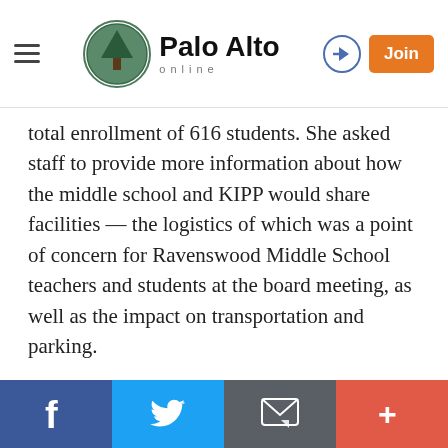Palo Alto online — navigation header with logo, login, and Join button
total enrollment of 616 students. She asked staff to provide more information about how the middle school and KIPP would share facilities — the logistics of which was a point of concern for Ravenswood Middle School teachers and students at the board meeting, as well as the impact on transportation and parking.
The debate over KIPP's expansion request has brought to the surface several hot-button issues, including a bitter division between the district and its charter school; criticisms of district leadership, in particular, Superintendent Gloria Hernandez-Goff; and unanswered questions about the future of a
Social share buttons: Facebook, Twitter, Email, More